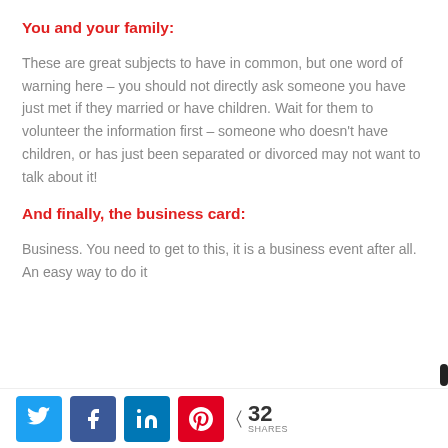You and your family:
These are great subjects to have in common, but one word of warning here – you should not directly ask someone you have just met if they married or have children. Wait for them to volunteer the information first – someone who doesn't have children, or has just been separated or divorced may not want to talk about it!
And finally, the business card:
Business. You need to get to this, it is a business event after all. An easy way to do it